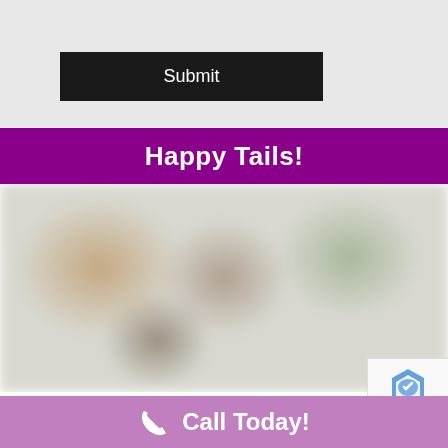[Figure (screenshot): Gray form area with a black Submit button]
Happy Tails!
[Figure (photo): Blurred photo of animals (pets) — blurred for privacy]
Call Today!